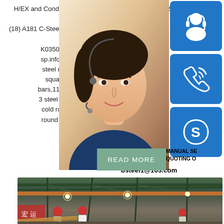H/EX and Condenser St 35.8 17175 1.0305 Plus DIN2391 Tubes (18) A181 C-Steel Forgings for General Purpose Piping Class 60 K03502 SFVC1/SFVC1 D4122/G3202 · sp.infoST52-3 (1.0580) Round Bars ma steel round bar manufacturer,st52-3 ro square bars,en10025 2-st52 steel ro bars,11600 rectangular bars,q345c round 3 steel round bar,s235 high tensile round cold rolled round bar,st52-3 round bar i round bar,st52-3 round bar suppliers,er round
[Figure (photo): Woman with headset - customer service representative photo, partially visible on right side of page]
[Figure (infographic): Blue sidebar with three icons: headset/customer service icon, phone/call icon, and Skype icon]
MANUAL SE QUOTING O bsteel1@163.com
[Figure (other): READ MORE button in sage green color]
[Figure (photo): Interior of a steel factory/warehouse with workers in red hard hats, steel structures and cranes visible]